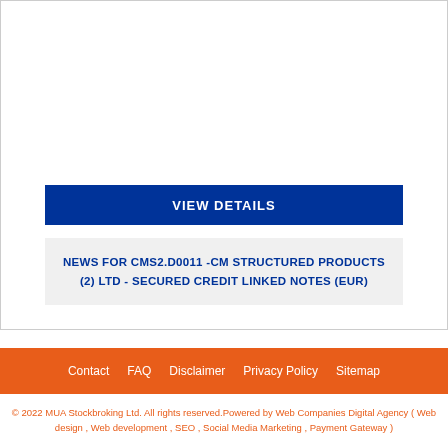VIEW DETAILS
NEWS FOR CMS2.D0011 -CM STRUCTURED PRODUCTS (2) LTD - SECURED CREDIT LINKED NOTES (EUR)
Contact  FAQ  Disclaimer  Privacy Policy  Sitemap
© 2022 MUA Stockbroking Ltd. All rights reserved.Powered by Web Companies Digital Agency ( Web design , Web development , SEO , Social Media Marketing , Payment Gateway )